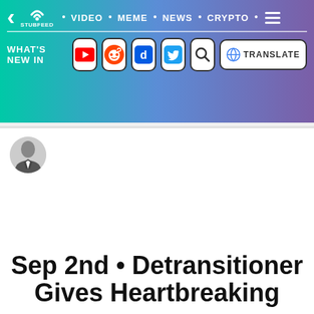StubFeed · VIDEO · MEME · NEWS · CRYPTO
[Figure (screenshot): Social media navigation bar with What's New In section showing YouTube, Reddit, Digg, Twitter, Search, and Google Translate icons]
[Figure (photo): Small grayscale avatar photo of a man in a suit]
Sep 2nd • Detransitioner Gives Heartbreaking